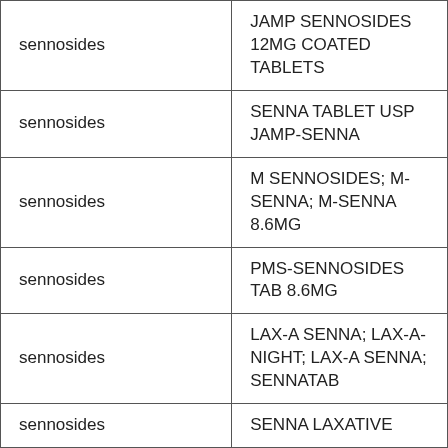| sennosides | JAMP SENNOSIDES 12MG COATED TABLETS |
| sennosides | SENNA TABLET USP JAMP-SENNA |
| sennosides | M SENNOSIDES; M-SENNA; M-SENNA 8.6MG |
| sennosides | PMS-SENNOSIDES TAB 8.6MG |
| sennosides | LAX-A SENNA; LAX-A-NIGHT; LAX-A SENNA; SENNATAB |
| sennosides | SENNA LAXATIVE |